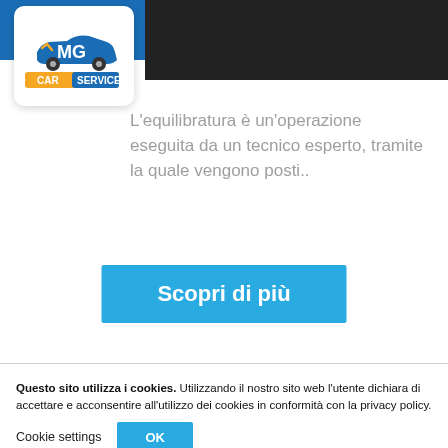MG Car Service — navigation header with hamburger menu
[Figure (logo): MG Car Service logo: white rounded box with car icon and MG text, CAR SERVICE label below in yellow and blue]
[Figure (photo): Dark photo strip partially visible at top right]
L'equilibratura è un'operazione eseguita da un tecnico esperto, tramite la quale vengono posti..
Scopri di più
Questo sito utilizza i cookies. Utilizzando il nostro sito web l'utente dichiara di accettare e acconsentire all'utilizzo dei cookies in conformità con la privacy policy.
Cookie settings
OK